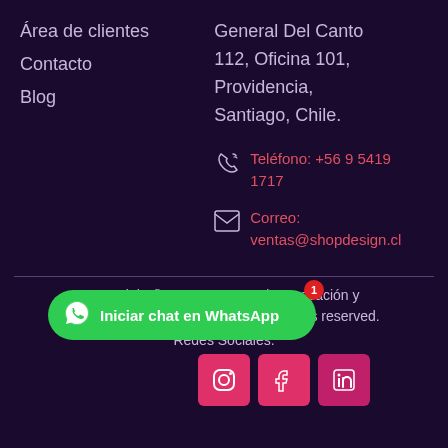Área de clientes
Contacto
Blog
General Del Canto 112, Oficina 101, Providencia, Santiago, Chile.
Teléfono: +56 9 5419 1717
Correo: ventas@shopdesign.cl
Copyright © 2021 Empresa de Innovación y Tecnología Mega Innova SpA. All Rights reserved.
Redes Sociales:
[Figure (other): WhatsApp chat button with notification badge showing '1', green rounded button with WhatsApp icon and text 'Iniciar chat en WhatsApp']
[Figure (other): Social media icons: Instagram, Facebook, LinkedIn on pink/red rounded square buttons]